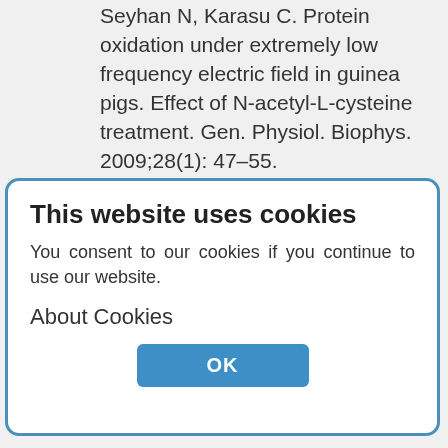Seyhan N, Karasu C. Protein oxidation under extremely low frequency electric field in guinea pigs. Effect of N-acetyl-L-cysteine treatment. Gen. Physiol. Biophys. 2009;28(1): 47–55.
This website uses cookies
You consent to our cookies if you continue to use our website.
About Cookies
OK
This work is licensed under a Creative Commons Attribution 4.0 International License.